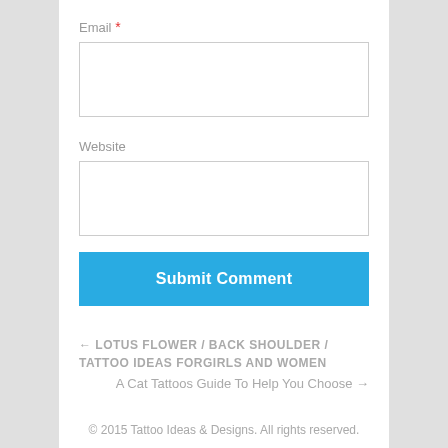Email *
Website
Submit Comment
← LOTUS FLOWER / BACK SHOULDER / TATTOO IDEAS FORGIRLS AND WOMEN
A Cat Tattoos Guide To Help You Choose →
© 2015 Tattoo Ideas & Designs. All rights reserved.